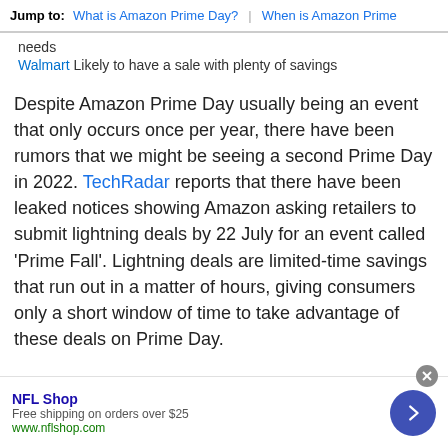Jump to: What is Amazon Prime Day? | When is Amazon Prime
needs
Walmart Likely to have a sale with plenty of savings
Despite Amazon Prime Day usually being an event that only occurs once per year, there have been rumors that we might be seeing a second Prime Day in 2022. TechRadar reports that there have been leaked notices showing Amazon asking retailers to submit lightning deals by 22 July for an event called 'Prime Fall'. Lightning deals are limited-time savings that run out in a matter of hours, giving consumers only a short window of time to take advantage of these deals on Prime Day.
NFL Shop
Free shipping on orders over $25
www.nflshop.com